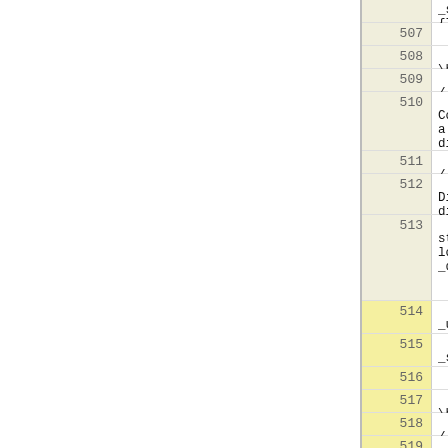Source code listing lines 507-524 showing C++ DigraphReader constructor implementations
| line | code |
| --- | --- |
|  | _skip_arcs(false) {} |
| 507 |  |
| 508 |     /// \brief Constructor |
| 509 |     /// |
| 510 |     /// Construct a directed graph reader, which reads from the given |
| 511 |     /// file. |
| 512 |     DigraphReader(Digraph& digraph, const std::string& fn) |
| 513 |           : _is(new std::ifstream(fn.c_str())), local_is(true), _digraph(digraph), |
| 514 |             _use_nodes(false), _use_arcs(false), |
| 515 |             _skip_nodes(false), _skip_arcs(false) {} |
| 516 |  |
| 517 |     /// \brief Constructor |
| 518 |     /// |
| 519 |     /// Construct a directed graph reader, which reads from the given |
| 520 |     /// file. |
| 521 |     DigraphReader(Digraph& digraph, const char* fn) |
| 522 |           : _is(new std::ifstream(fn)), local_is(true), _digraph(digraph), |
| 523 |             _use_nodes(false), _use_arcs(false), |
| 524 |             _skip_nodes(false), _skip_arcs(false) {} |